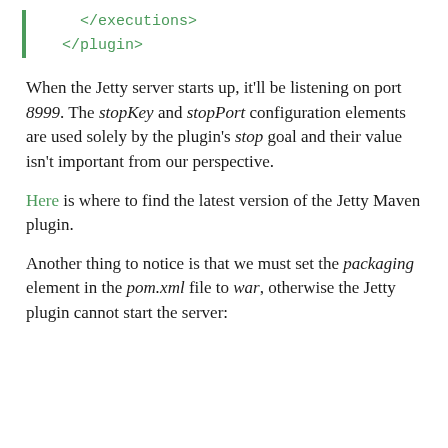</executions>
  </plugin>
When the Jetty server starts up, it'll be listening on port 8999. The stopKey and stopPort configuration elements are used solely by the plugin's stop goal and their value isn't important from our perspective.
Here is where to find the latest version of the Jetty Maven plugin.
Another thing to notice is that we must set the packaging element in the pom.xml file to war, otherwise the Jetty plugin cannot start the server: